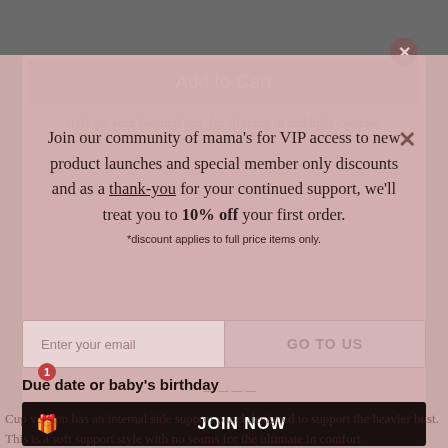Add to Cart
Join our community of mama's for VIP access to new product launches and special member only discounts and as a thank-you for your continued support, we'll treat you to 10% off your first order.
*discount applies to full price items only.
IT LOOKS LIKE YOU ARE VISITING FROM UNITED STATES!
Do you want to visit our website in your country?
Enter your email
GO TO US
Due date or baby's birthday
JOIN NOW
style for your hospital bag, for sleeping in and light exercise.
Cup version has an internal side support panel designed to support the heavier bust. This is a soft support style with no seams for the ultimate in comfort